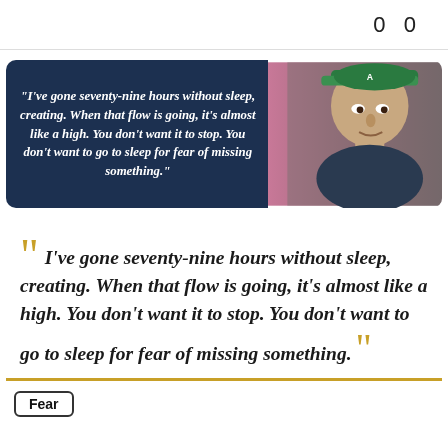0   0
[Figure (illustration): Banner card with dark navy background on the left showing an italic bold quote in white text, and a photo of a man wearing a green and white cap on the right side.]
““ I've gone seventy-nine hours without sleep, creating. When that flow is going, it's almost like a high. You don't want it to stop. You don't want to go to sleep for fear of missing something. ””
Fear